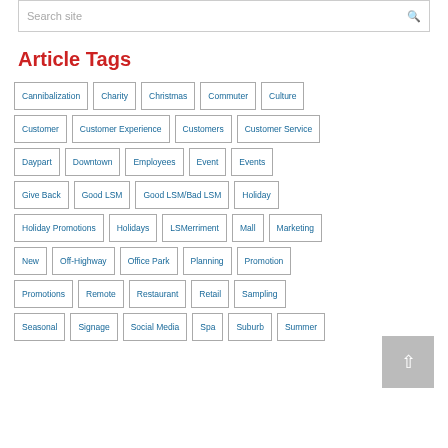Search site
Article Tags
Cannibalization
Charity
Christmas
Commuter
Culture
Customer
Customer Experience
Customers
Customer Service
Daypart
Downtown
Employees
Event
Events
Give Back
Good LSM
Good LSM/Bad LSM
Holiday
Holiday Promotions
Holidays
LSMerriment
Mall
Marketing
New
Off-Highway
Office Park
Planning
Promotion
Promotions
Remote
Restaurant
Retail
Sampling
Seasonal
Signage
Social Media
Spa
Suburb
Summer